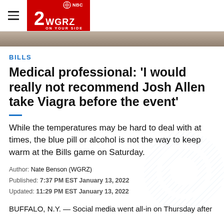2WGRZ ON YOUR SIDE
[Figure (photo): Partial photo strip at top of article page]
BILLS
Medical professional: 'I would really not recommend Josh Allen take Viagra before the event'
While the temperatures may be hard to deal with at times, the blue pill or alcohol is not the way to keep warm at the Bills game on Saturday.
Author: Nate Benson (WGRZ)
Published: 7:37 PM EST January 13, 2022
Updated: 11:29 PM EST January 13, 2022
BUFFALO, N.Y. — Social media went all-in on Thursday after